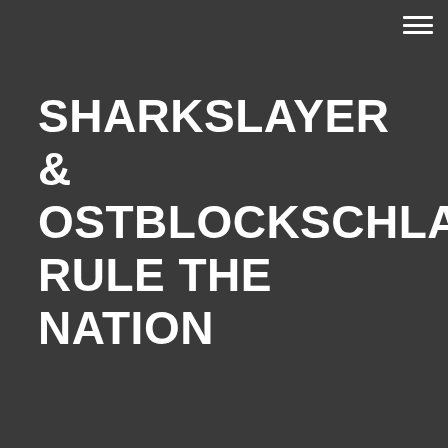SHARKSLAYER & OSTBLOCKSCHLAMPEN RULE THE NATION